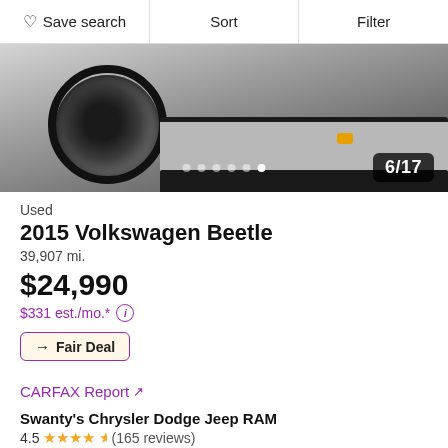Save search | Sort | Filter
[Figure (photo): Close-up photo of the front wheel, tire, and bumper area of a silver/grey Volkswagen Beetle, showing alloy wheel and lower bumper with amber turn signal. Image carousel showing 6/17.]
Used
2015 Volkswagen Beetle
39,907 mi.
$24,990
$331 est./mo.*
Fair Deal
CARFAX Report ↗
Swanty's Chrysler Dodge Jeep RAM
4.5 (165 reviews)
4 mi. from 86439